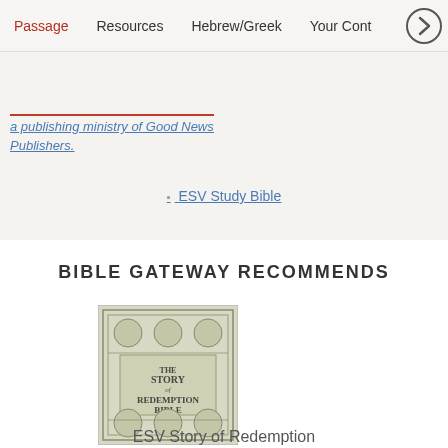Passage  Resources  Hebrew/Greek  Your Cont
a publishing ministry of Good News Publishers.
ESV Study Bible
BIBLE GATEWAY RECOMMENDS
[Figure (photo): Book cover of the Story of Redemption Bible]
ESV Story of Redemption